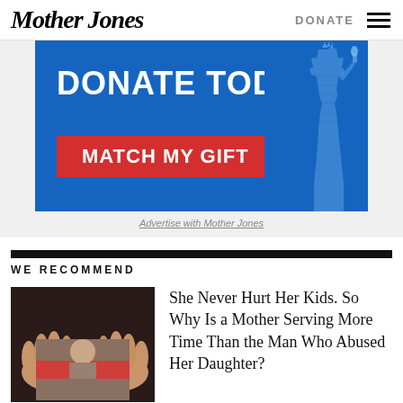Mother Jones
DONATE
[Figure (infographic): Blue donation banner with text 'DONATE TODAY.' and a red button 'MATCH MY GIFT', with a Statue of Liberty silhouette on the right]
Advertise with Mother Jones
WE RECOMMEND
[Figure (photo): Hands holding a photograph of a child, with a red stripe across the image]
She Never Hurt Her Kids. So Why Is a Mother Serving More Time Than the Man Who Abused Her Daughter?